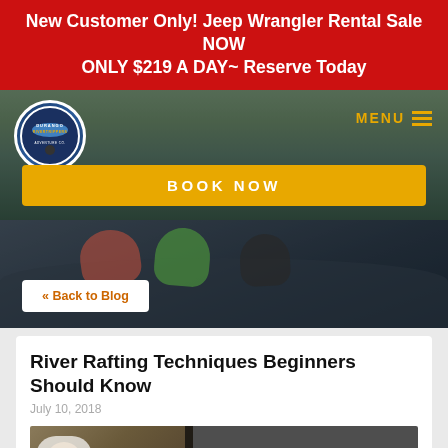New Customer Only! Jeep Wrangler Rental Sale NOW ONLY $219 A DAY~ Reserve Today
[Figure (photo): Navigation header with Durango Rivertrippers logo on left and MENU button in gold on right, over a river rafting background image with a yellow BOOK NOW button]
[Figure (photo): River rafting action photo showing people paddling in a raft through rapids, with a white Back to Blog button in the lower left]
River Rafting Techniques Beginners Should Know
July 10, 2018
[Figure (photo): Article thumbnail image showing a person smiling outdoors on the left, and on the right a dark overlay with text RIVER RAFTING in small caps and TECHNIQUES BEGINNERS SHOULD KNOW in large gold bold uppercase text]